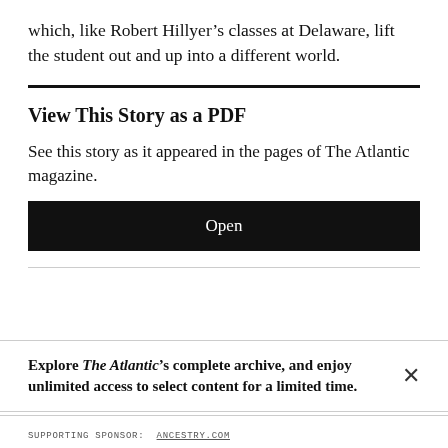which, like Robert Hillyer’s classes at Delaware, lift the student out and up into a different world.
View This Story as a PDF
See this story as it appeared in the pages of The Atlantic magazine.
Open
Explore The Atlantic’s complete archive, and enjoy unlimited access to select content for a limited time.
SUPPORTING SPONSOR:  ANCESTRY.COM